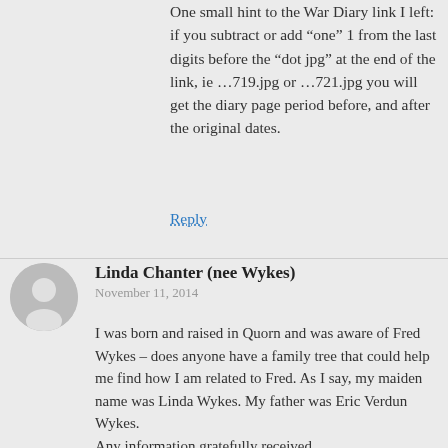One small hint to the War Diary link I left: if you subtract or add “one” 1 from the last digits before the “dot jpg” at the end of the link, ie …719.jpg or …721.jpg you will get the diary page period before, and after the original dates.
Reply
Linda Chanter (nee Wykes)
November 11, 2014
I was born and raised in Quorn and was aware of Fred Wykes – does anyone have a family tree that could help me find how I am related to Fred. As I say, my maiden name was Linda Wykes. My father was Eric Verdun Wykes.
Any information gratefully received.
Reply
Linda Wykes
November 12, 2014
Hello Linda Wykes from Quorn